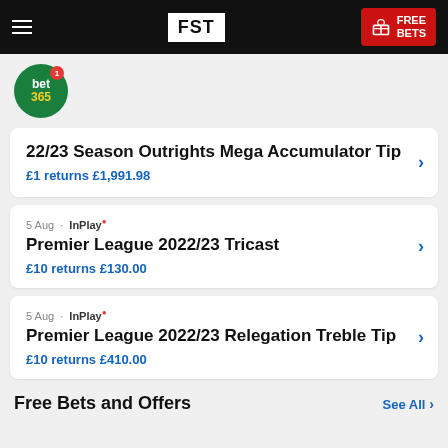FST | FREE BETS
[Figure (logo): bet365 circular green logo with red badge showing number 1]
22/23 Season Outrights Mega Accumulator Tip | £1 returns £1,991.98
5 Aug · InPlay | Premier League 2022/23 Tricast | £10 returns £130.00
5 Aug · InPlay | Premier League 2022/23 Relegation Treble Tip | £10 returns £410.00
Free Bets and Offers